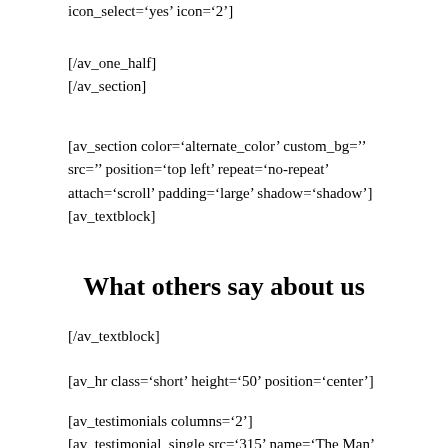icon_select='yes' icon='2']
[/av_one_half]
[/av_section]
[av_section color='alternate_color' custom_bg='' src='' position='top left' repeat='no-repeat' attach='scroll' padding='large' shadow='shadow']
[av_textblock]
What others say about us
[/av_textblock]
[av_hr class='short' height='50' position='center']
[av_testimonials columns='2']
[av_testimonial_single src='315' name='The Man'